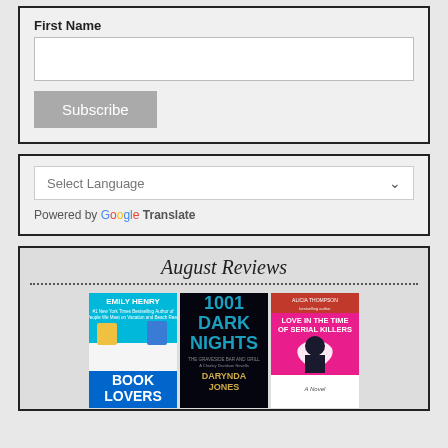First Name
[Figure (screenshot): First Name input field with empty text box and Subscribe button below it, inside a bordered box]
[Figure (screenshot): Select Language dropdown with Google Translate attribution below, inside a bordered box]
August Reviews
[Figure (photo): Three book covers: Book Lovers by Emily Henry, 1001 Dark Nights by Darynda Jones, and Love in the Time of Serial Killers]